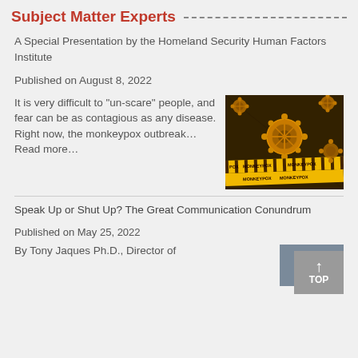Subject Matter Experts
A Special Presentation by the Homeland Security Human Factors Institute
Published on August 8, 2022
It is very difficult to "un-scare" people, and fear can be as contagious as any disease. Right now, the monkeypox outbreak… Read more…
[Figure (photo): Monkeypox virus illustration with yellow warning tape labeled MONKEYPOX on dark background]
Speak Up or Shut Up? The Great Communication Conundrum
Published on May 25, 2022
By Tony Jaques Ph.D., Director of
[Figure (photo): Partial photo of a person, cropped at bottom right of page]